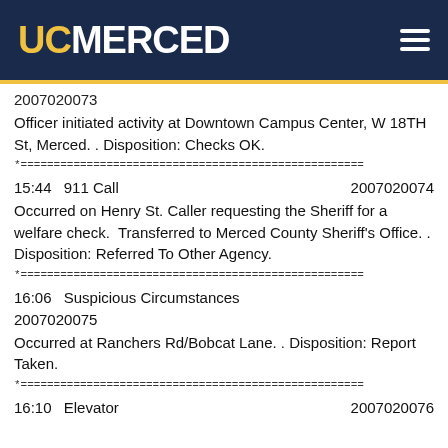UC MERCED
2007020073
Officer initiated activity at Downtown Campus Center, W 18TH St, Merced. . Disposition: Checks OK.
*====================================================
15:44    911 Call    2007020074
Occurred on Henry St. Caller requesting the Sheriff for a welfare check.  Transferred to Merced County Sheriff's Office. . Disposition: Referred To Other Agency.
*====================================================
16:06    Suspicious Circumstances    2007020075
Occurred at Ranchers Rd/Bobcat Lane. . Disposition: Report Taken.
*====================================================
16:10    Elevator    2007020076